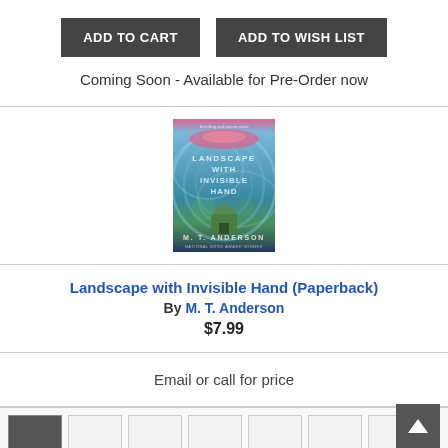ADD TO CART
ADD TO WISH LIST
Coming Soon - Available for Pre-Order now
[Figure (illustration): Book cover of 'Landscape with Invisible Hand' by M. T. Anderson. Colorful swirling background with teal, blue, green and pink hues. Title text in white/light blue letters in the center, author name at the bottom.]
Landscape with Invisible Hand (Paperback)
By M. T. Anderson
$7.99
Email or call for price